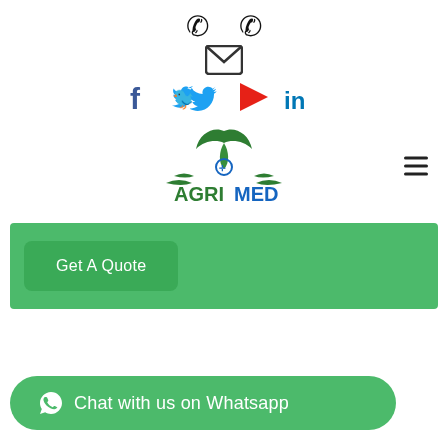[Figure (screenshot): Website header with phone icons, email icon, social media icons (Facebook, Twitter, YouTube, LinkedIn), AGRIMED logo, hamburger menu, Get A Quote button banner, and WhatsApp chat button]
Get A Quote
Chat with us on Whatsapp